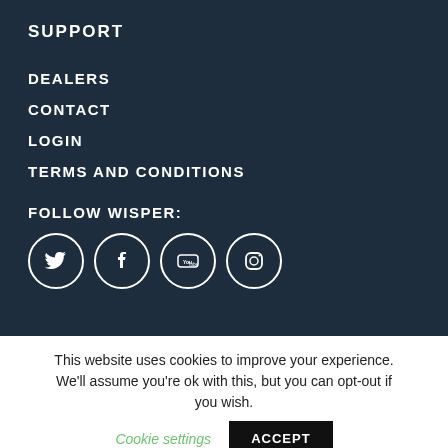SUPPORT
DEALERS
CONTACT
LOGIN
TERMS AND CONDITIONS
FOLLOW WISPER:
[Figure (other): Four social media icons in circles: Twitter, Facebook, YouTube, Instagram]
This website uses cookies to improve your experience. We'll assume you're ok with this, but you can opt-out if you wish. Cookie settings ACCEPT